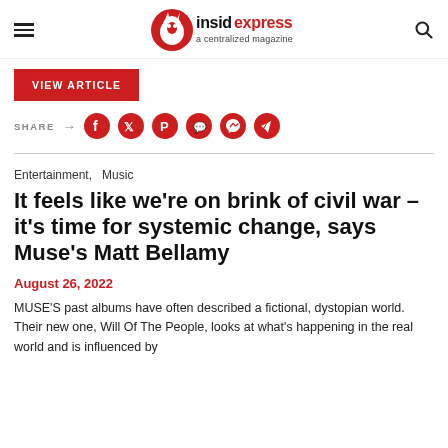insidexpress - a centralized magazine
VIEW ARTICLE
SHARE → [social icons: Facebook, Twitter, Pinterest, WhatsApp, Messenger, Telegram]
Entertainment,   Music
It feels like we're on brink of civil war – it's time for systemic change, says Muse's Matt Bellamy
August 26, 2022
MUSE'S past albums have often described a fictional, dystopian world. Their new one, Will Of The People, looks at what's happening in the real world and is influenced by